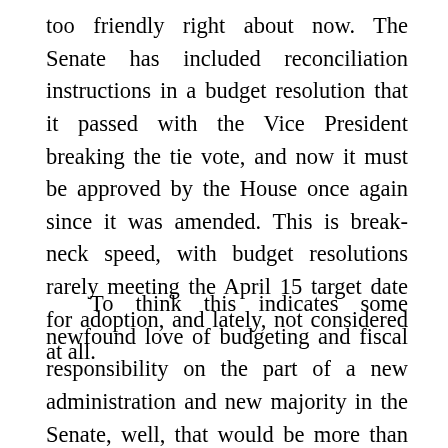too friendly right about now. The Senate has included reconciliation instructions in a budget resolution that it passed with the Vice President breaking the tie vote, and now it must be approved by the House once again since it was amended. This is break-neck speed, with budget resolutions rarely meeting the April 15 target date for adoption, and lately, not considered at all.
To think this indicates some newfound love of budgeting and fiscal responsibility on the part of a new administration and new majority in the Senate, well, that would be more than even the steadfast optimism to which this website is dedicated can bear. No,